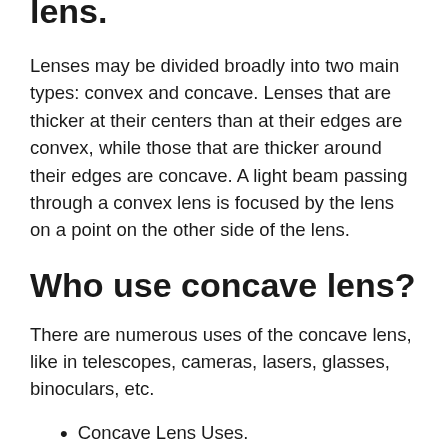lens.
Lenses may be divided broadly into two main types: convex and concave. Lenses that are thicker at their centers than at their edges are convex, while those that are thicker around their edges are concave. A light beam passing through a convex lens is focused by the lens on a point on the other side of the lens.
Who use concave lens?
There are numerous uses of the concave lens, like in telescopes, cameras, lasers, glasses, binoculars, etc.
Concave Lens Uses.